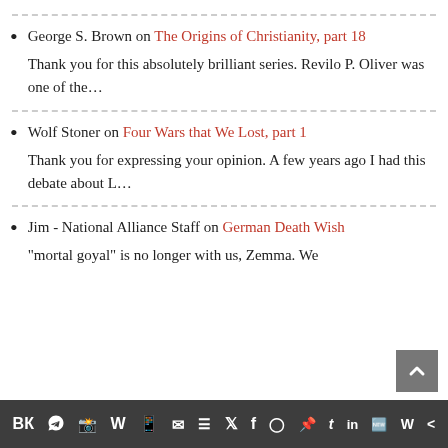George S. Brown on The Origins of Christianity, part 18
Thank you for this absolutely brilliant series. Revilo P. Oliver was one of the…
Wolf Stoner on Four Wars that We Lost, part 1
Thank you for expressing your opinion. A few years ago I had this debate about L…
Jim - National Alliance Staff on German Death Wish
"mortal goyal" is no longer with us, Zemma. We
Social sharing icons: VK, Telegram, Reddit, WordPress, WhatsApp, Email, Buffer, Twitter, Facebook, Instagram, Pinterest, Tumblr, LinkedIn, Share, Wattpad, Share